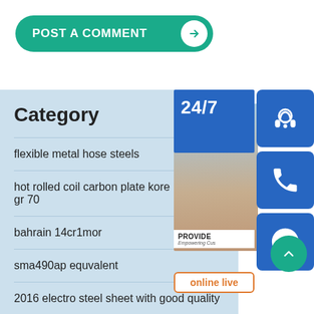POST A COMMENT →
Category
flexible metal hose steels
hot rolled coil carbon plate korea gr 70
bahrain 14cr1mor
sma490ap equvalent
2016 electro steel sheet with good quality
[Figure (infographic): Customer support widget showing 24/7 support with headset icon, phone icon, Skype icon, PROVIDE Empowering Customers text, and online live button]
online live